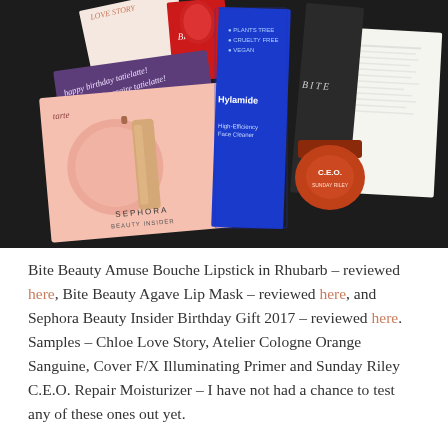[Figure (photo): Flat lay photo on dark background showing beauty products: Bite Beauty lipstick boxes, Hylamide High-Efficiency Face Cleanser in blue box, Sunday Riley C.E.O. jar (orange), Tarte/Sephora beauty card with blush and foundation, a purple birthday card reading 'happy birthday tatielatte! joyeux anniversaire tatielatte!', a white paper/receipt, and a Love Story branded item.]
Bite Beauty Amuse Bouche Lipstick in Rhubarb – reviewed here, Bite Beauty Agave Lip Mask – reviewed here, and Sephora Beauty Insider Birthday Gift 2017 – reviewed here. Samples – Chloe Love Story, Atelier Cologne Orange Sanguine, Cover F/X Illuminating Primer and Sunday Riley C.E.O. Repair Moisturizer – I have not had a chance to test any of these ones out yet.